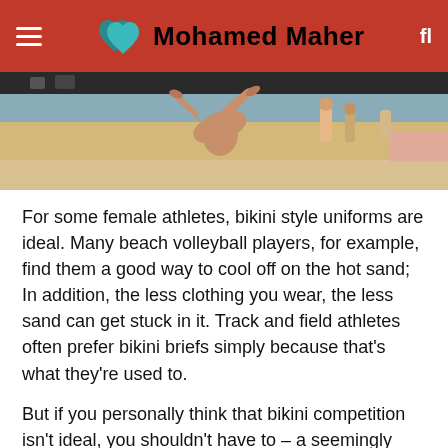Mohamed Maher
[Figure (photo): Beach volleyball action photo showing an athlete's legs mid-jump on sandy beach with spectators in background]
For some female athletes, bikini style uniforms are ideal. Many beach volleyball players, for example, find them a good way to cool off on the hot sand; In addition, the less clothing you wear, the less sand can get stuck in it. Track and field athletes often prefer bikini briefs simply because that's what they're used to.
But if you personally think that bikini competition isn't ideal, you shouldn't have to – a seemingly obvious principle that hasn't been reflected in International Handball Federation's (IHF). Historically, female beach handball players were